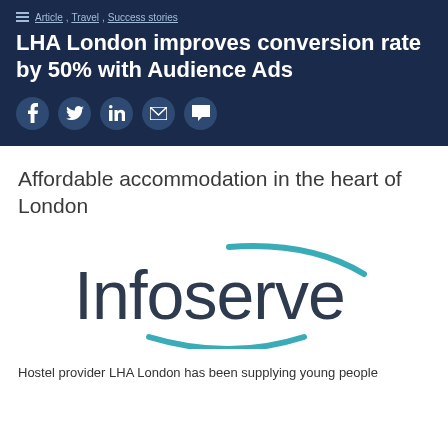Article , Travel , Success stories
LHA London improves conversion rate by 50% with Audience Ads
[Figure (other): Social sharing icons: Facebook, Twitter, LinkedIn, Email, Comment]
Affordable accommodation in the heart of London
[Figure (logo): Infoserve logo — dark text 'Infoserve' with a teal arc above and teal smile curve below]
Hostel provider LHA London has been supplying young people